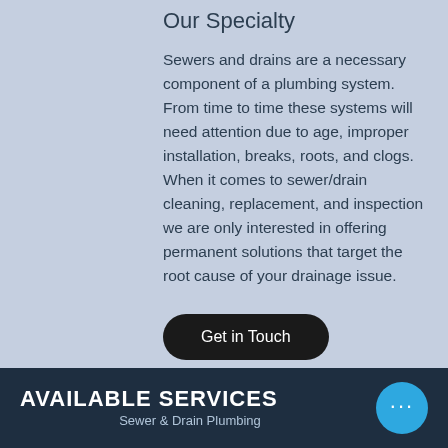Our Specialty
Sewers and drains are a necessary component of a plumbing system.  From time to time these systems will need attention due to age, improper installation, breaks, roots, and clogs.  When it comes to sewer/drain cleaning, replacement, and inspection we are only interested in offering permanent solutions that target the root cause of your drainage issue.
Get in Touch
AVAILABLE SERVICES
Sewer & Drain Plumbing